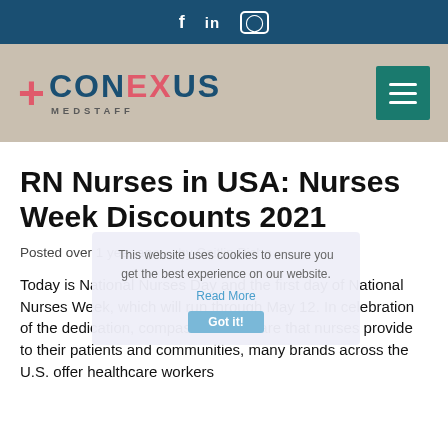f  in  (instagram icon)
[Figure (logo): Conexus MedStaff logo with teal/red cross symbol and hamburger menu button]
RN Nurses in USA: Nurses Week Discounts 2021
Posted over 1 year ago     by Caitlin Piche
Today is National Nurses Day and the first day of National Nurses Week, which will run through May 12. In celebration of the dedication, compassion and care that nurses provide to their patients and communities, many brands across the U.S. offer healthcare workers